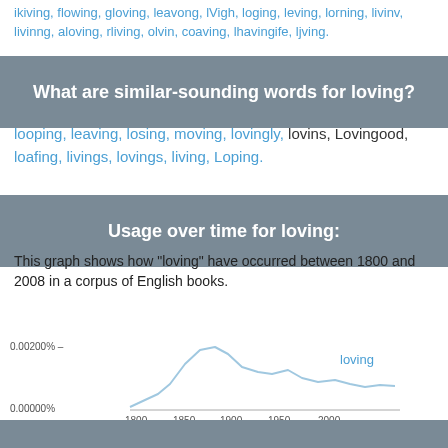ikiving, flowing, gloving, leavong, lVigh, loging, leving, lorning, livinv, livinng, aloving, rliving, olvin, coaving, lhavingife, ljving.
What are similar-sounding words for loving?
looping, leaving, losing, moving, lovingly, lovins, Lovingood, loafing, livings, lovings, living, Loping.
Usage over time for loving:
This graph shows how "loving" have occurred between 1800 and 2008 in a corpus of English books.
[Figure (continuous-plot): Line chart showing usage of 'loving' over time from 1800 to 2008, with y-axis from 0.00000% to 0.00200%. The line rises to a peak around 1900-1920 then dips and rises again.]
49 words made out of letters LOVING